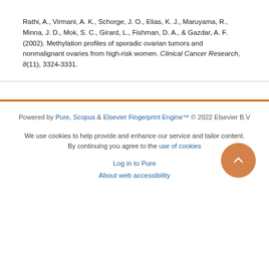Rathi, A., Virmani, A. K., Schorge, J. O., Elias, K. J., Maruyama, R., Minna, J. D., Mok, S. C., Girard, L., Fishman, D. A., & Gazdar, A. F. (2002). Methylation profiles of sporadic ovarian tumors and nonmalignant ovaries from high-risk women. Clinical Cancer Research, 8(11), 3324-3331.
Powered by Pure, Scopus & Elsevier Fingerprint Engine™ © 2022 Elsevier B.V

We use cookies to help provide and enhance our service and tailor content. By continuing you agree to the use of cookies

Log in to Pure

About web accessibility